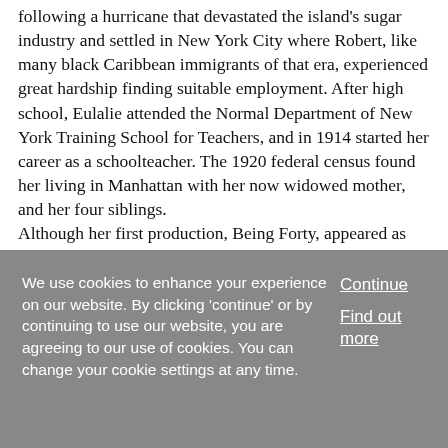following a hurricane that devastated the island's sugar industry and settled in New York City where Robert, like many black Caribbean immigrants of that era, experienced great hardship finding suitable employment. After high school, Eulalie attended the Normal Department of New York Training School for Teachers, and in 1914 started her career as a schoolteacher. The 1920 federal census found her living in Manhattan with her now widowed mother, and her four siblings. Although her first production, Being Forty, appeared as early as 1924 Spence s entry into the theater arts began in earnest ...
We use cookies to enhance your experience on our website. By clicking 'continue' or by continuing to use our website, you are agreeing to our use of cookies. You can change your cookie settings at any time.
Continue
Find out more